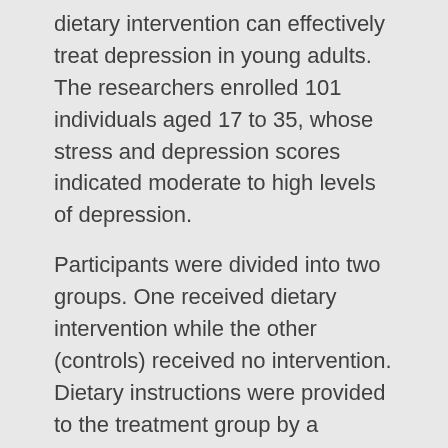dietary intervention can effectively treat depression in young adults. The researchers enrolled 101 individuals aged 17 to 35, whose stress and depression scores indicated moderate to high levels of depression.
Participants were divided into two groups. One received dietary intervention while the other (controls) received no intervention. Dietary instructions were provided to the treatment group by a registered dietician via a 13-minute video, which could be revisited at will.
The dietary recommendations were based on the 2003 Australian Guide to Healthy Eating protocol “with additional recommendations to increase concordance with Mediterranean-style diets … and diet components (e.g., omega-3 fatty acids, cinnamon, turmeric) that have beneficial effects on neurological function.”¹° More specifically, the treatment group was instructed to...